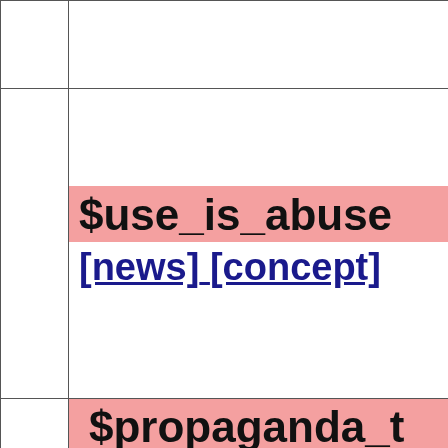|  |  |
|  | $use_is_abuse
[news] [concept] |
|  | $propaganda_t... |